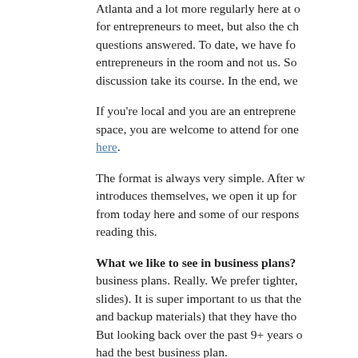Atlanta and a lot more regularly here at o... for entrepreneurs to meet, but also the ch... questions answered. To date, we have fo... entrepreneurs in the room and not us. So... discussion take its course. In the end, we...
If you're local and you are an entreprene... space, you are welcome to attend for one... here.
The format is always very simple. After w... introduces themselves, we open it up for ... from today here and some of our respons... reading this.
What we like to see in business plans? business plans. Really. We prefer tighter,... slides). It is super important to us that the... and backup materials) that they have tho... But looking back over the past 9+ years o... had the best business plan.
Do we go to business plan competition... meeting them there? Yep, we go to the ... not provided capital that we met through a... the companies we have funded have com... entrepreneurs at one of our portfolio comp... over the last couple of years.
Are founders allowed to take salary af... have varied, but usually for the founder/C... investment). It has scaled higher from the...